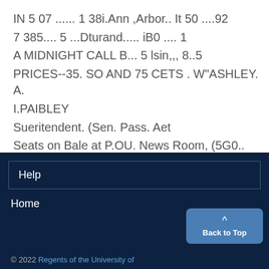IN 5 07 ...... 1 38i.Ann ,Arbor.. It 50 ....92
7 385.... 5 ...Dturand..... iB0 .... 1
A MIDNIGHT CALL B... 5 lsin,,, 8..5
PRICES--35. SO AND 75 CETS . W"ASHLEY. A.I.PAIBLEY
Sueritendent. (Sen. Pass. Aet
Seats on Bale at P.OU. News Room, (5G0..
HASL LEWOOD. LoeWl Agent.
Help
Home
© 2022 Regents of the University of